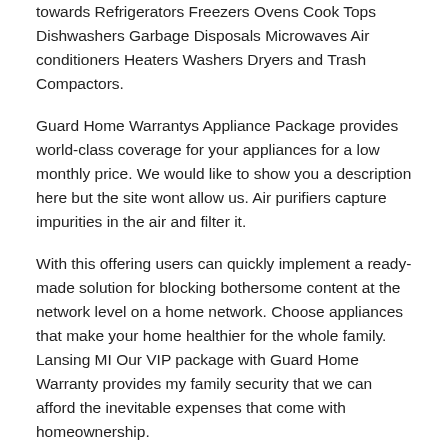towards Refrigerators Freezers Ovens Cook Tops Dishwashers Garbage Disposals Microwaves Air conditioners Heaters Washers Dryers and Trash Compactors.
Guard Home Warrantys Appliance Package provides world-class coverage for your appliances for a low monthly price. We would like to show you a description here but the site wont allow us. Air purifiers capture impurities in the air and filter it.
With this offering users can quickly implement a ready-made solution for blocking bothersome content at the network level on a home network. Choose appliances that make your home healthier for the whole family. Lansing MI Our VIP package with Guard Home Warranty provides my family security that we can afford the inevitable expenses that come with homeownership.